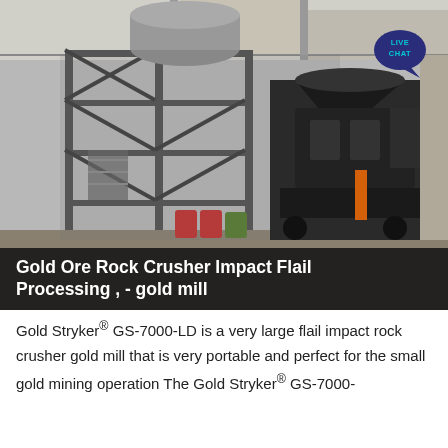[Figure (photo): Industrial mining facility interior showing a large metal scaffold structure on the left and a large dark flail impact rock crusher machine on the right, inside a warehouse/industrial building. A 'LIVE CHAT' speech bubble badge appears in the upper right corner.]
Gold Ore Rock Crusher Impact Flail Processing , - gold mill
Gold Stryker® GS-7000-LD is a very large flail impact rock crusher gold mill that is very portable and perfect for the small gold mining operation The Gold Stryker® GS-7000-